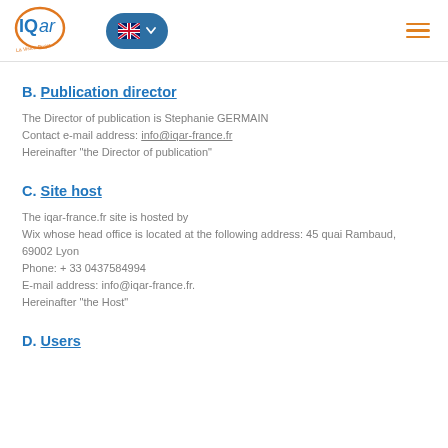IQar - La Vision Projet | Language selector | Menu
B. Publication director
The Director of publication is Stephanie GERMAIN
Contact e-mail address: info@iqar-france.fr
Hereinafter "the Director of publication"
C. Site host
The iqar-france.fr site is hosted by
Wix whose head office is located at the following address: 45 quai Rambaud, 69002 Lyon
Phone: + 33 0437584994
E-mail address: info@iqar-france.fr.
Hereinafter "the Host"
D. Users